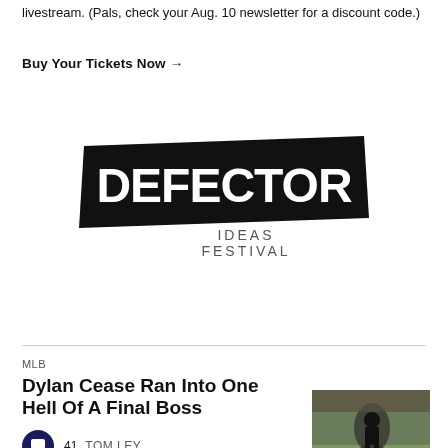livestream. (Pals, check your Aug. 10 newsletter for a discount code.)
Buy Your Tickets Now →
[Figure (logo): Defector Ideas Festival logo — large black parallelogram-like banner with white text 'DEFECTOR' in bold, and 'IDEAS FESTIVAL' in lighter text below the banner]
MLB
Dylan Cease Ran Into One Hell Of A Final Boss
41   TOM LEY
[Figure (photo): Baseball action photo showing a pitcher on the mound]